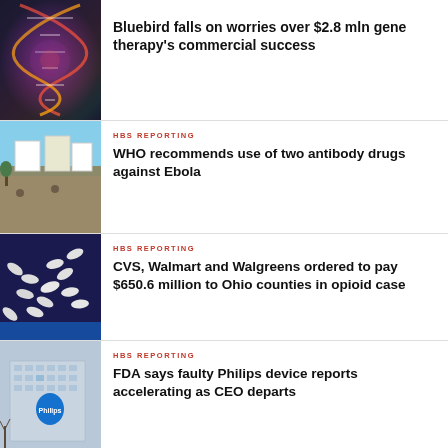[Figure (photo): Colorful DNA double helix illustration with purple, red, orange and green tones on dark background]
Bluebird falls on worries over $2.8 mln gene therapy's commercial success
[Figure (photo): Outdoor health signs/billboards in a field with blue sky]
HBS REPORTING
WHO recommends use of two antibody drugs against Ebola
[Figure (photo): White pills/tablets scattered on a dark blue surface]
HBS REPORTING
CVS, Walmart and Walgreens ordered to pay $650.6 million to Ohio counties in opioid case
[Figure (photo): Philips company headquarters building exterior with logo, modern glass architecture]
HBS REPORTING
FDA says faulty Philips device reports accelerating as CEO departs